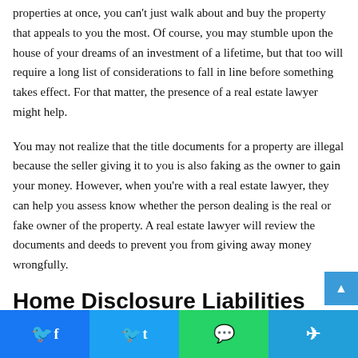properties at once, you can't just walk about and buy the property that appeals to you the most. Of course, you may stumble upon the house of your dreams of an investment of a lifetime, but that too will require a long list of considerations to fall in line before something takes effect. For that matter, the presence of a real estate lawyer might help.
You may not realize that the title documents for a property are illegal because the seller giving it to you is also faking as the owner to gain your money. However, when you're with a real estate lawyer, they can help you assess know whether the person dealing is the real or fake owner of the property. A real estate lawyer will review the documents and deeds to prevent you from giving away money wrongfully.
Home Disclosure Liabilities